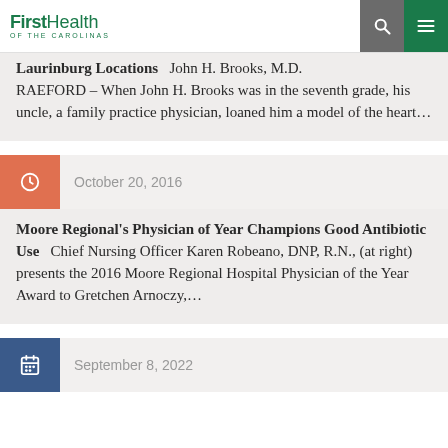FirstHealth of the Carolinas
Laurinburg Locations  John H. Brooks, M.D. RAEFORD – When John H. Brooks was in the seventh grade, his uncle, a family practice physician, loaned him a model of the heart…
October 20, 2016
Moore Regional's Physician of Year Champions Good Antibiotic Use   Chief Nursing Officer Karen Robeano, DNP, R.N., (at right) presents the 2016 Moore Regional Hospital Physician of the Year Award to Gretchen Arnoczy,…
September 8, 2022